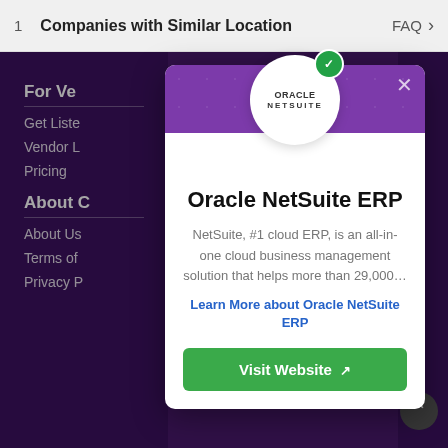1  Companies with Similar Location  FAQ >
For Ve
Get Liste
Vendor L
Pricing
About (
About Us
Terms of
Privacy P
[Figure (screenshot): Modal popup card showing Oracle NetSuite ERP product information with a circular logo featuring a green verification badge, purple header, product name, description, learn more link, and Visit Website button]
Oracle NetSuite ERP
NetSuite, #1 cloud ERP, is an all-in-one cloud business management solution that helps more than 29,000…
Learn More about Oracle NetSuite ERP
Visit Website ↗